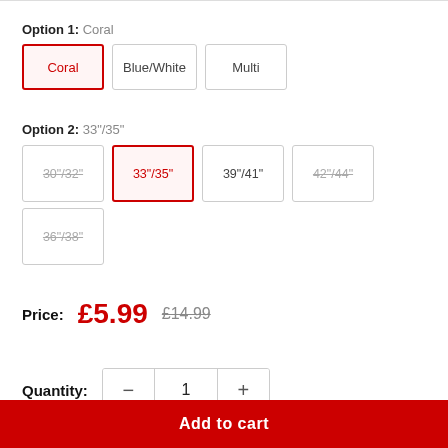Option 1: Coral
Coral | Blue/White | Multi
Option 2: 33"/35"
30"/32" | 33"/35" | 39"/41" | 42"/44" | 36"/38"
Price: £5.99  £14.99
Quantity: 1
Add to cart